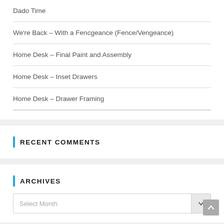Dado Time
We're Back – With a Fencgeance (Fence/Vengeance)
Home Desk – Final Paint and Assembly
Home Desk – Inset Drawers
Home Desk – Drawer Framing
RECENT COMMENTS
ARCHIVES